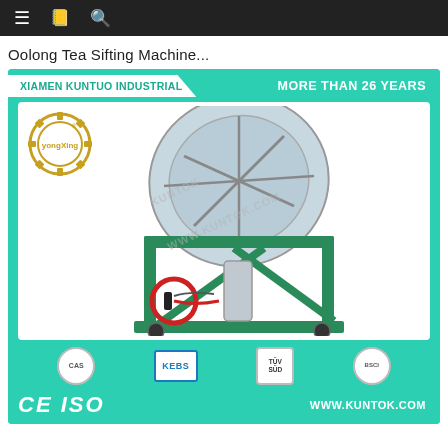navigation bar with menu, bookmark, and search icons
Oolong Tea Sifting Machine...
[Figure (photo): Product advertisement image for Oolong Tea Sifting Machine by Xiamen Kuntuo Industrial (Yongxing brand). Shows a green metal sifting machine with a large circular tilted drum on a green steel frame, with a red circular motor component. Certification badges: CAS, KEBS, TÜV, BSCI. Header says 'XIAMEN KUNTUO INDUSTRIAL' and 'MORE THAN 26 YEARS'. Footer shows CE, ISO logos and www.kuntok.com.]